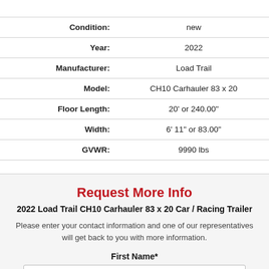| Label | Value |
| --- | --- |
| Condition: | new |
| Year: | 2022 |
| Manufacturer: | Load Trail |
| Model: | CH10 Carhauler 83 x 20 |
| Floor Length: | 20' or 240.00" |
| Width: | 6' 11" or 83.00" |
| GVWR: | 9990 lbs |
Request More Info
2022 Load Trail CH10 Carhauler 83 x 20 Car / Racing Trailer
Please enter your contact information and one of our representatives will get back to you with more information.
First Name*